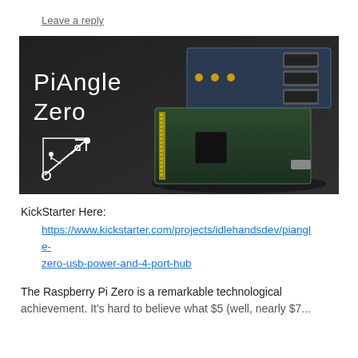Leave a reply
[Figure (photo): PiAngle Zero product image showing a Raspberry Pi Zero board with a stackable USB hub add-on board. White text on dark background reads 'PiAngle Zero' with a USB symbol diagram.]
KickStarter Here:
https://www.kickstarter.com/projects/idlehandsdev/piangle-zero-usb-power-and-4-port-hub
The Raspberry Pi Zero is a remarkable technological achievement. It's hard to believe what $5 (well, nearly $7...